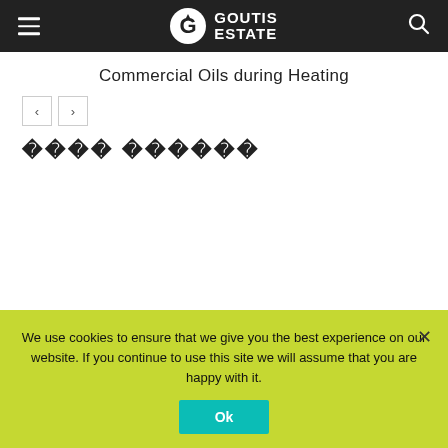GOUTIS ESTATE
Commercial Oils during Heating
[Figure (other): Navigation prev/next arrow buttons]
???? ??????
We use cookies to ensure that we give you the best experience on our website. If you continue to use this site we will assume that you are happy with it.